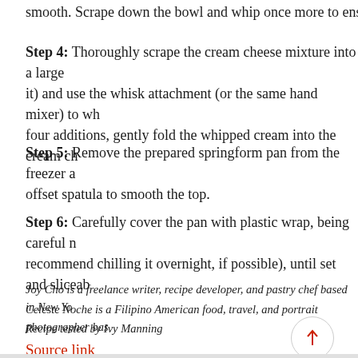smooth. Scrape down the bowl and whip once more to ensure t
Step 4: Thoroughly scrape the cream cheese mixture into a large it) and use the whisk attachment (or the same hand mixer) to wh four additions, gently fold the whipped cream into the cream ch
Step 5: Remove the prepared springform pan from the freezer a offset spatula to smooth the top.
Step 6: Carefully cover the pan with plastic wrap, being careful n recommend chilling it overnight, if possible), until set and sliceab
Step 7: When ready to serve, gently release the sides of the spri with a warm, damp towel in between each cut. The cheesecake w
Joy Cho is a freelance writer, recipe developer, and pastry chef based in New Yo
Celeste Noche is a Filipino American food, travel, and portrait photographer bas
Recipe tested by Ivy Manning
Source link